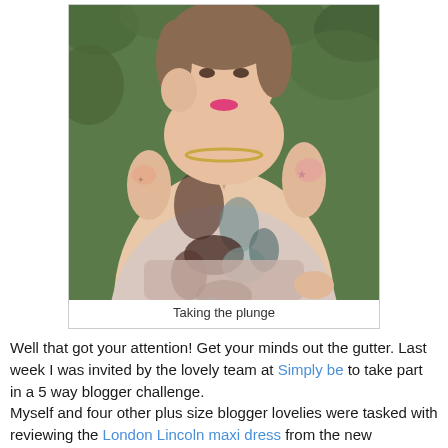[Figure (photo): A plus-size woman with tattoos on both arms wearing a floral/abstract print sleeveless dress with a deep V-neckline and a chain necklace, posing in front of green foliage. She has bright pink lipstick and holds her hand near her face.]
Taking the plunge
Well that got your attention! Get your minds out the gutter. Last week I was invited by the lovely team at Simply be to take part in a 5 way blogger challenge.
Myself and four other plus size blogger lovelies were tasked with reviewing the London Lincoln maxi dress from the new Project D/London range.